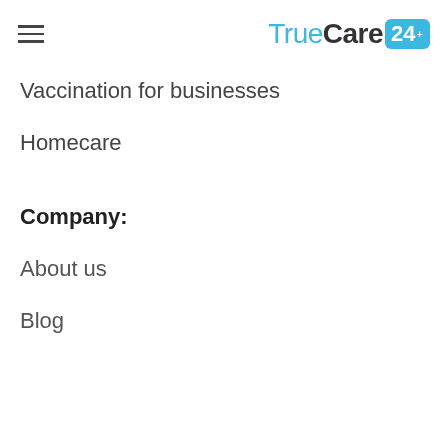TrueCare24
Vaccination for businesses
Homecare
Company:
About us
Blog